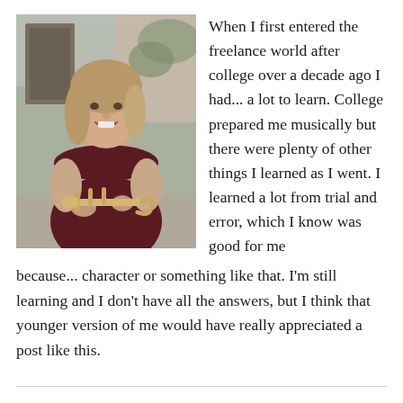[Figure (photo): A woman with light brown hair smiling, wearing a dark maroon sleeveless dress and holding a trumpet, photographed outdoors with a blurred background.]
When I first entered the freelance world after college over a decade ago I had... a lot to learn. College prepared me musically but there were plenty of other things I learned as I went. I learned a lot from trial and error, which I know was good for me because... character or something like that. I'm still learning and I don't have all the answers, but I think that younger version of me would have really appreciated a post like this.